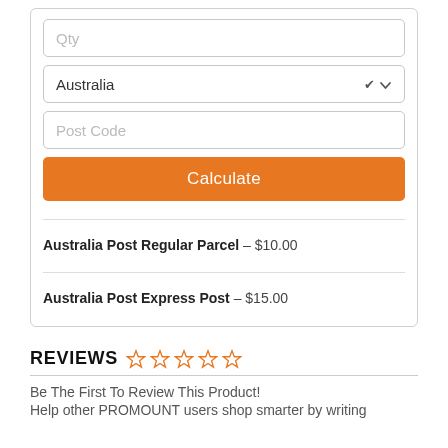[Figure (screenshot): Shipping calculator form with Qty input, Australia country dropdown, Post Code input, and orange Calculate button. Below shows two shipping options: Australia Post Regular Parcel $10.00 and Australia Post Express Post $15.00.]
REVIEWS ☆☆☆☆☆
Be The First To Review This Product!
Help other PROMOUNT users shop smarter by writing